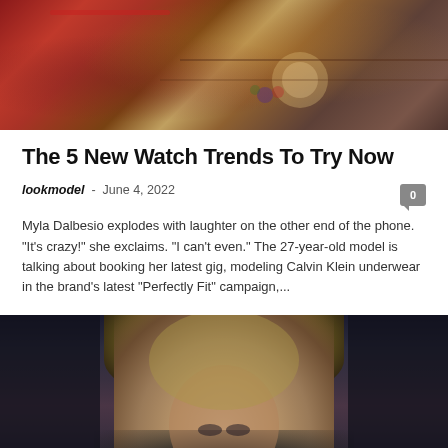[Figure (photo): Fashion photo showing a woman with a colorful watch and bracelets holding a tablet/magazine, with warm red and brown tones]
The 5 New Watch Trends To Try Now
lookmodel  -  June 4, 2022
Myla Dalbesio explodes with laughter on the other end of the phone. "It's crazy!" she exclaims. "I can't even." The 27-year-old model is talking about booking her latest gig, modeling Calvin Klein underwear in the brand's latest "Perfectly Fit" campaign,...
[Figure (photo): Fashion portrait of a blonde woman wearing a black fur hat against a dark grey background, with dramatic makeup]